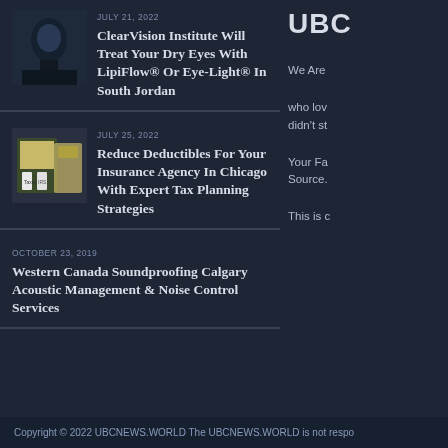JULY 21, 2022
ClearVision Institute Will Treat Your Dry Eyes With LipiFlow® Or Eye-Light® In South Jordan
[Figure (photo): Photo of a medical/eye care procedure, dark toned image]
JULY 25, 2022
Reduce Deductibles For Your Insurance Agency In Chicago With Expert Tax Planning Strategies
[Figure (photo): Photo of tax-related papers with 'Taxes' and 'IRS' labels and money]
OCTOBER 23, 2019
Western Canada Soundproofing Calgary Acoustic Management & Noise Control Services
UBC
We Are
who lov
did n't st
Your Fa
Source.
This is c
Copyright © 2022 UBCNEWS.WORLD The UBCNEWS.WORLD is not respo